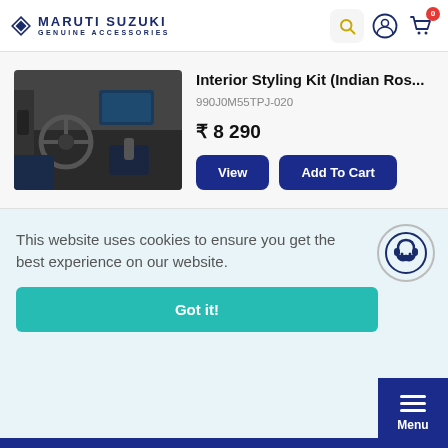MARUTI SUZUKI GENUINE ACCESSORIES
Interior Styling Kit (Indian Ros...
990J0M55TPJ-020
₹ 8 290
[Figure (photo): Car interior showing dashboard, steering wheel, and center console of a Maruti Suzuki vehicle]
This website uses cookies to ensure you get the best experience on our website.
Got it!